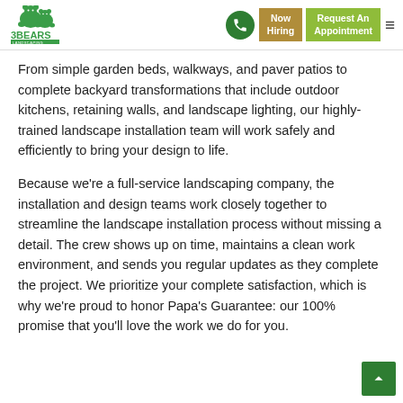3Bears Landscaping — Now Hiring | Request An Appointment
From simple garden beds, walkways, and paver patios to complete backyard transformations that include outdoor kitchens, retaining walls, and landscape lighting, our highly-trained landscape installation team will work safely and efficiently to bring your design to life.
Because we're a full-service landscaping company, the installation and design teams work closely together to streamline the landscape installation process without missing a detail. The crew shows up on time, maintains a clean work environment, and sends you regular updates as they complete the project. We prioritize your complete satisfaction, which is why we're proud to honor Papa's Guarantee: our 100% promise that you'll love the work we do for you.